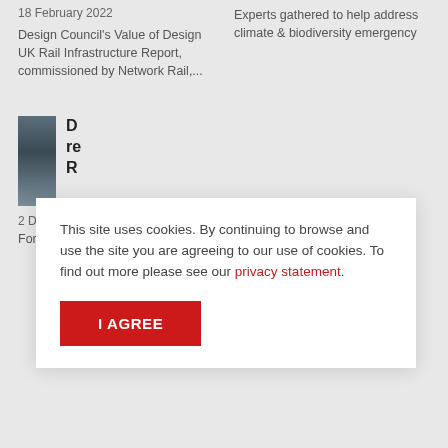18 February 2022
Design Council's Value of Design UK Rail Infrastructure Report, commissioned by Network Rail,...
Experts gathered to help address climate & biodiversity emergency
[Figure (photo): Thumbnail image partially visible, appears to show an outdoor or construction scene]
D... re... R...
2 December 2021
Former Design...
This site uses cookies. By continuing to browse and use the site you are agreeing to our use of cookies. To find out more please see our privacy statement.
I AGREE